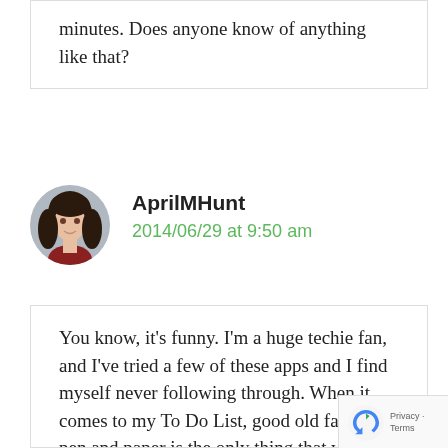minutes. Does anyone know of anything like that?
AprilMHunt
2014/06/29 at 9:50 am
[Figure (photo): Circular avatar photo of AprilMHunt, a woman with dark hair]
You know, it’s funny. I’m a huge techie fan, and I’ve tried a few of these apps and I find myself never following through. When it comes to my To Do List, good old fashioned pen and paper is the only thing that works for me. I think it’s something about the brain connection in writing it all out and then having it sit there next to my